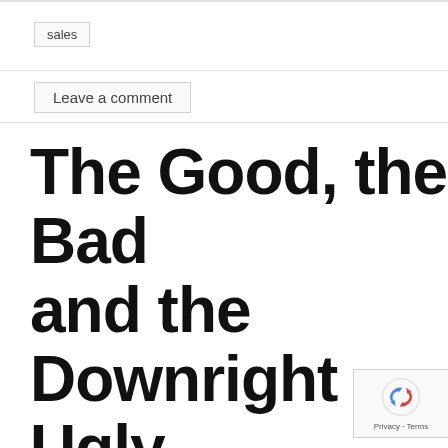sales
Leave a comment
The Good, the Bad and the Downright Ugly Examples of Storytelling With Data and why Goo… Storytelling is…